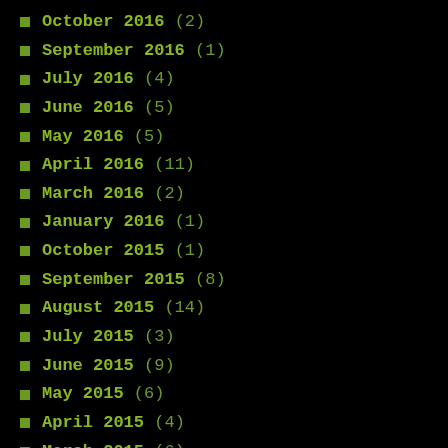October 2016 (2)
September 2016 (1)
July 2016 (4)
June 2016 (5)
May 2016 (5)
April 2016 (11)
March 2016 (2)
January 2016 (1)
October 2015 (1)
September 2015 (8)
August 2015 (14)
July 2015 (3)
June 2015 (9)
May 2015 (6)
April 2015 (4)
March 2015 (6)
February 2015 (2)
January 2015 (8)
December 2014 (9)
November 2014 (17)
October 2014 (7)